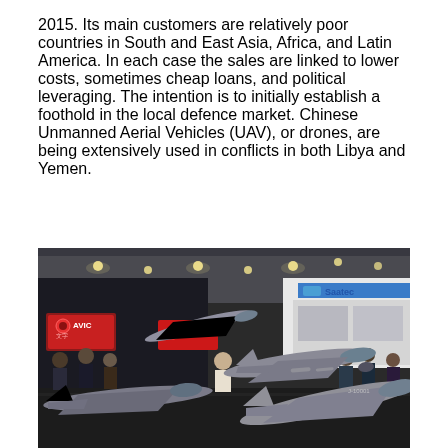2015. Its main customers are relatively poor countries in South and East Asia, Africa, and Latin America. In each case the sales are linked to lower costs, sometimes cheap loans, and political leveraging. The intention is to initially establish a foothold in the local defence market. Chinese Unmanned Aerial Vehicles (UAV), or drones, are being extensively used in conflicts in both Libya and Yemen.
[Figure (photo): Photo of a defense trade show floor featuring multiple scale models of Chinese fighter jets (grey military aircraft) displayed on stands, with attendees browsing, exhibition booths including AVIC signage in red, and a Saatec booth visible in the background. Large hall with ceiling lights.]